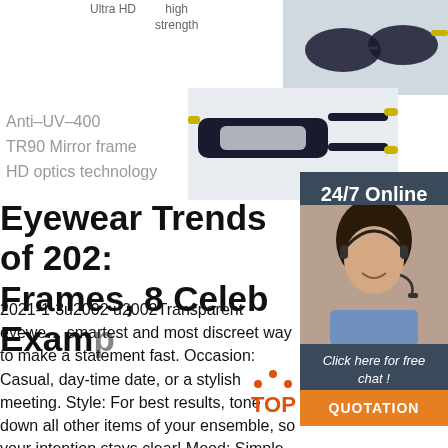Ultra HD
high strength
[Figure (photo): Product photo of dark sunglasses with yellow tips, top right corner]
[Figure (photo): Photo of sports safety glasses with yellow frame arms, center right]
Anti-UV-400
TR90 Mirror frame
HD optics technology
24/7 Online
[Figure (photo): Photo of a smiling woman with headset, customer service representative]
Click here for free chat !
QUOTATION
Eyewear Trends of 202: Frames, 8 Celeb Examp
2021-1-3u2002·u2002Transparent eyewe… smartest and most discreet way to make a statement fast. Occasion: Casual, day-time date, or a stylish meeting. Style: For best results, tone down all other items of your ensemble, so your intention stays clear! Mood: Simple but smart and trendy. The see-through eyewear trend is leading with well-established design moving the world of lasts...